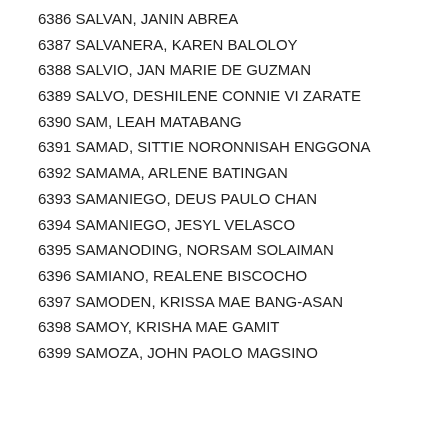6386 SALVAN, JANIN ABREA
6387 SALVANERA, KAREN BALOLOY
6388 SALVIO, JAN MARIE DE GUZMAN
6389 SALVO, DESHILENE CONNIE VI ZARATE
6390 SAM, LEAH MATABANG
6391 SAMAD, SITTIE NORONNISAH ENGGONA
6392 SAMAMA, ARLENE BATINGAN
6393 SAMANIEGO, DEUS PAULO CHAN
6394 SAMANIEGO, JESYL VELASCO
6395 SAMANODING, NORSAM SOLAIMAN
6396 SAMIANO, REALENE BISCOCHO
6397 SAMODEN, KRISSA MAE BANG-ASAN
6398 SAMOY, KRISHA MAE GAMIT
6399 SAMOZA, JOHN PAOLO MAGSINO